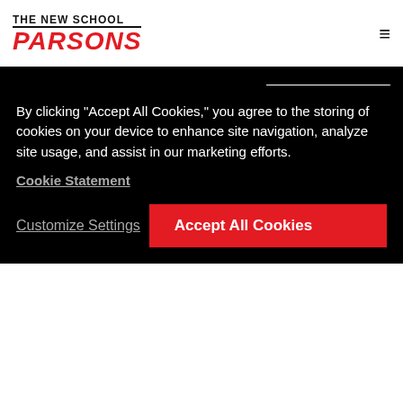THE NEW SCHOOL PARSONS
PARSONS NOTES
a guide to your undergraduate experience
home   about   first year   majors
Parsons School of Design has offered students innovative
By clicking “Accept All Cookies,” you agree to the storing of cookies on your device to enhance site navigation, analyze site usage, and assist in our marketing efforts.
Cookie Statement
Customize Settings
Accept All Cookies